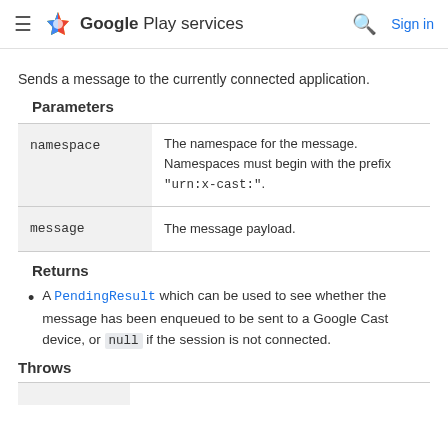Google Play services | Sign in
Sends a message to the currently connected application.
Parameters
|  |  |
| --- | --- |
| namespace | The namespace for the message. Namespaces must begin with the prefix "urn:x-cast:". |
| message | The message payload. |
Returns
A PendingResult which can be used to see whether the message has been enqueued to be sent to a Google Cast device, or null if the session is not connected.
Throws